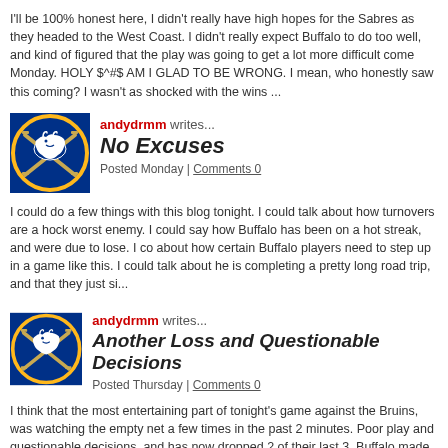I'll be 100% honest here, I didn't really have high hopes for the Sabres as they headed to the West Coast. I didn't really expect Buffalo to do too well, and kind of figured that the play was going to get a lot more difficult come Monday. HOLY $^#$ AM I GLAD TO BE WRONG. I mean, who honestly saw this coming? I wasn't as shocked with the wins ...
andydrmm writes...
No Excuses
Posted Monday | Comments 0
I could do a few things with this blog tonight. I could talk about how turnovers are a hockey worst enemy. I could say how Buffalo has been on a hot streak, and were due to lose. I could about how certain Buffalo players need to step up in a game like this. I could talk about how is completing a pretty long road trip, and that they just si...
andydrmm writes...
Another Loss and Questionable Decisions
Posted Thursday | Comments 0
I think that the most entertaining part of tonight's game against the Bruins, was watching the empty net a few times in the past 2 minutes. Poor play and questionable decisions, and has now dropped 2 of their last 3. Buffalo made the mistake of playing the wrong goalies, wrong games. Carolina is the game that Enroth should have started in....
andydrmm writes...